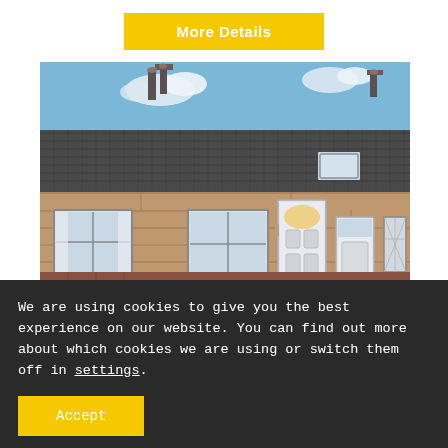More Details
[Figure (photo): Exterior photograph of a Scottish sandstone terraced bungalow with grey tile roof, white uPVC windows and doors, and a low brick wall in the foreground, under a blue sky with white clouds.]
We are using cookies to give you the best experience on our website. You can find out more about which cookies we are using or switch them off in settings.
Accept